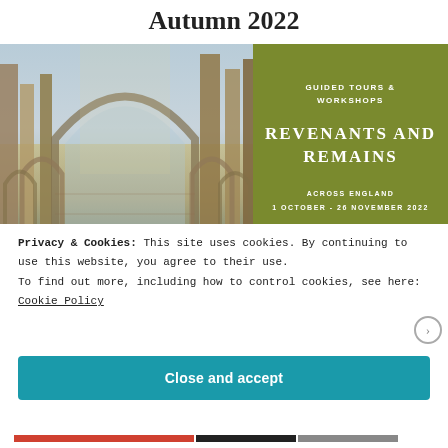Revenants and Remains, Autumn 2022
[Figure (photo): Left half: photograph of ruined abbey interior with gothic arched windows and columns. Right half: olive-green overlay panel with text 'GUIDED TOURS & WORKSHOPS', 'REVENANTS AND REMAINS', 'ACROSS ENGLAND', '1 OCTOBER - 26 NOVEMBER 2022']
Privacy & Cookies: This site uses cookies. By continuing to use this website, you agree to their use.
To find out more, including how to control cookies, see here: Cookie Policy
Close and accept